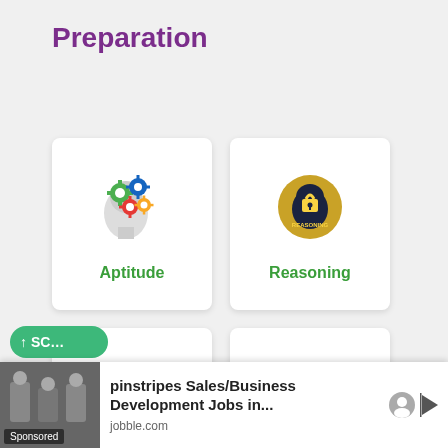Preparation
[Figure (illustration): Aptitude card with gears and head icon, labeled Aptitude]
[Figure (illustration): Reasoning card with gold circle and lock/head icon, labeled Reasoning]
[Figure (illustration): Verbal Ability card with book/pencil and green badge, labeled Verbal Ability]
[Figure (illustration): Interview Questions card with people/circle icon, labeled Interview Questions]
[Figure (illustration): Partially visible card with blue buildings icon at bottom]
pinstripes Sales/Business Development Jobs in...
jobble.com